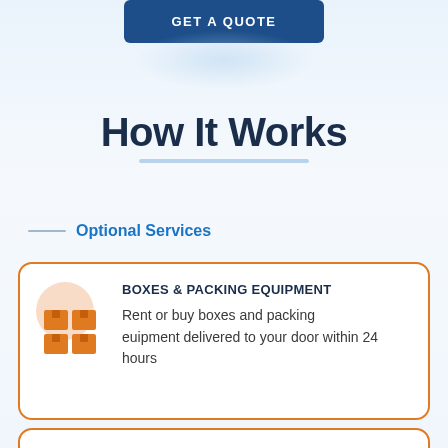GET A QUOTE
How It Works
Optional Services
BOXES & PACKING EQUIPMENT
Rent or buy boxes and packing euipment delivered to your door within 24 hours